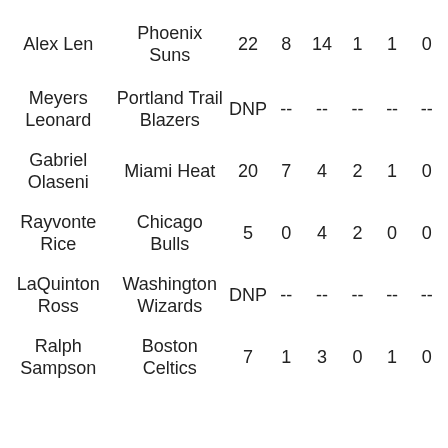| Player | Team | MIN | PTS | REB | AST | STL | BLK |
| --- | --- | --- | --- | --- | --- | --- | --- |
| Alex Len | Phoenix Suns | 22 | 8 | 14 | 1 | 1 | 0 |
| Meyers Leonard | Portland Trail Blazers | DNP | -- | -- | -- | -- | -- |
| Gabriel Olaseni | Miami Heat | 20 | 7 | 4 | 2 | 1 | 0 |
| Rayvonte Rice | Chicago Bulls | 5 | 0 | 4 | 2 | 0 | 0 |
| LaQuinton Ross | Washington Wizards | DNP | -- | -- | -- | -- | -- |
| Ralph Sampson | Boston Celtics | 7 | 1 | 3 | 0 | 1 | 0 |